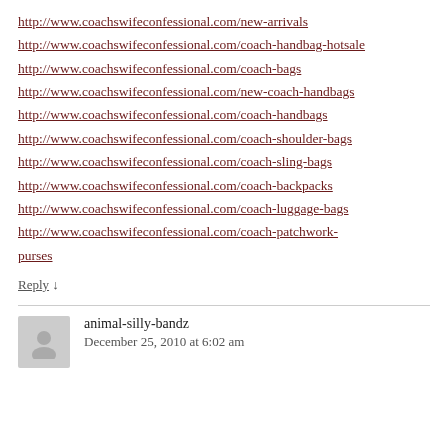http://www.coachswifeconfessional.com/new-arrivals
http://www.coachswifeconfessional.com/coach-handbag-hotsale
http://www.coachswifeconfessional.com/coach-bags
http://www.coachswifeconfessional.com/new-coach-handbags
http://www.coachswifeconfessional.com/coach-handbags
http://www.coachswifeconfessional.com/coach-shoulder-bags
http://www.coachswifeconfessional.com/coach-sling-bags
http://www.coachswifeconfessional.com/coach-backpacks
http://www.coachswifeconfessional.com/coach-luggage-bags
http://www.coachswifeconfessional.com/coach-patchwork-purses
Reply ↓
animal-silly-bandz
December 25, 2010 at 6:02 am